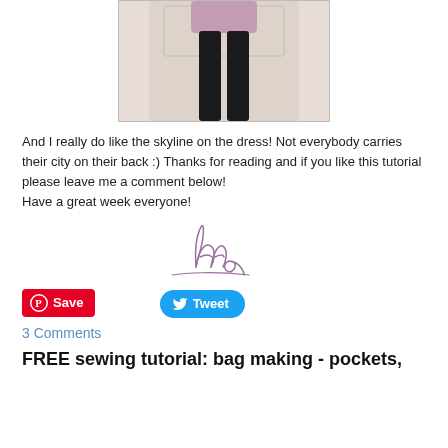[Figure (photo): Photo of person from waist down wearing a pink/mauve top and black tights/leggings, standing in front of a white door]
And I really do like the skyline on the dress! Not everybody carries their city on their back :) Thanks for reading and if you like this tutorial please leave me a comment below!
Have a great week everyone!
[Figure (illustration): Handwritten cursive signature reading 'Anna' in purple/mauve ink]
[Figure (other): Pinterest Save button (red) and Twitter Tweet button (blue)]
3 Comments
FREE sewing tutorial: bag making - pockets,